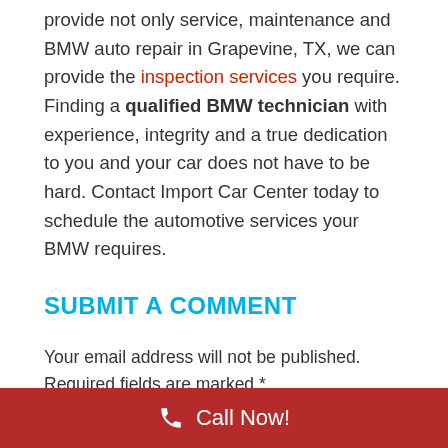provide not only service, maintenance and BMW auto repair in Grapevine, TX, we can provide the inspection services you require. Finding a qualified BMW technician with experience, integrity and a true dedication to you and your car does not have to be hard. Contact Import Car Center today to schedule the automotive services your BMW requires.
SUBMIT A COMMENT
Your email address will not be published. Required fields are marked *
Call Now!